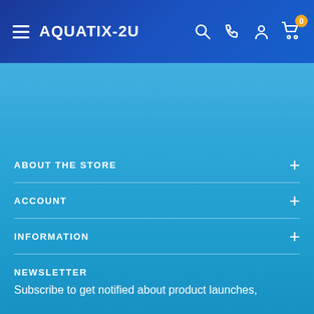AQUATIX-2U
ABOUT THE STORE
ACCOUNT
INFORMATION
NEWSLETTER
Subscribe to get notified about product launches,